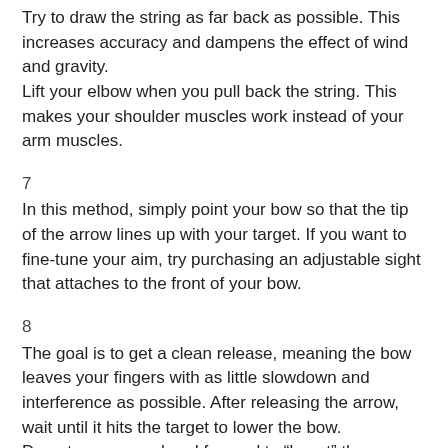Try to draw the string as far back as possible. This increases accuracy and dampens the effect of wind and gravity.
Lift your elbow when you pull back the string. This makes your shoulder muscles work instead of your arm muscles.
7
In this method, simply point your bow so that the tip of the arrow lines up with your target. If you want to fine-tune your aim, try purchasing an adjustable sight that attaches to the front of your bow.
8
The goal is to get a clean release, meaning the bow leaves your fingers with as little slowdown and interference as possible. After releasing the arrow, wait until it hits the target to lower the bow.
Do not move your hand forward to “boost” the arrow while you shoot. Remain still for the best shot possible.